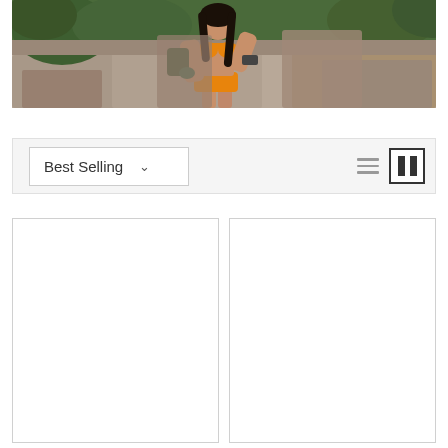[Figure (photo): Woman in orange bikini posing against rocky background with green trees visible. She is wearing an orange two-piece swimsuit and appears to be at an outdoor rocky location.]
[Figure (screenshot): E-commerce sort/filter toolbar with 'Best Selling' dropdown selector on the left and list/grid view toggle icons on the right.]
[Figure (screenshot): Two empty white product card placeholders in a two-column grid layout, partially visible at the bottom of the page.]